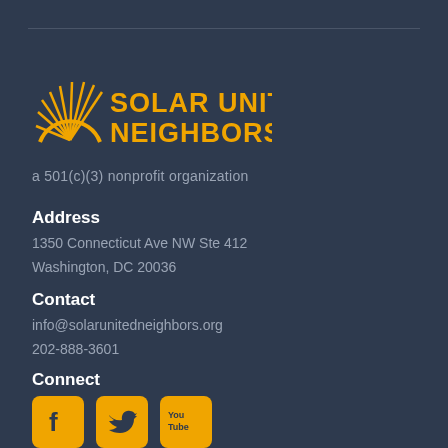[Figure (logo): Solar United Neighbors logo with sun ray icon and yellow text on dark background]
a 501(c)(3) nonprofit organization
Address
1350 Connecticut Ave NW Ste 412
Washington, DC 20036
Contact
info@solarunitedneighbors.org
202-888-3601
Connect
[Figure (illustration): Three social media icon buttons in yellow/gold: Facebook, Twitter, YouTube]